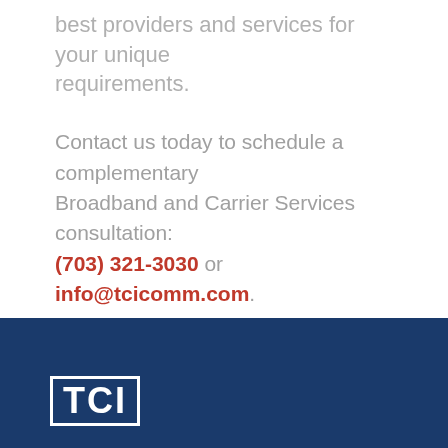best providers and services for your unique requirements.
Contact us today to schedule a complementary Broadband and Carrier Services consultation: (703) 321-3030 or info@tcicomm.com.
[Figure (logo): TCI logo — white letters T, C, I in bold on dark navy blue background, enclosed in a white rectangular border]